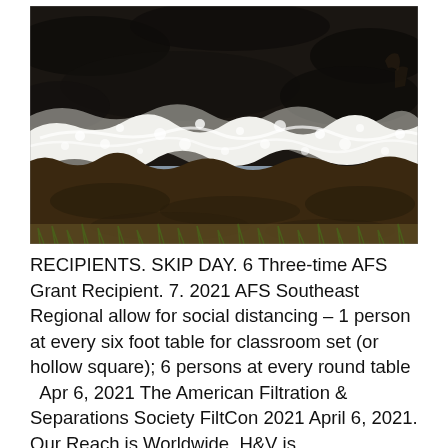[Figure (photo): Aerial view of ocean waves crashing against dark rocky coastline, foam and white water visible, brownish rocks and sparse vegetation at the bottom edge.]
RECIPIENTS. SKIP DAY. 6 Three-time AFS Grant Recipient. 7. 2021 AFS Southeast Regional allow for social distancing – 1 person at every six foot table for classroom set (or hollow square); 6 persons at every round table   Apr 6, 2021 The American Filtration & Separations Society FiltCon 2021 April 6, 2021. Our Reach is Worldwide. H&V is